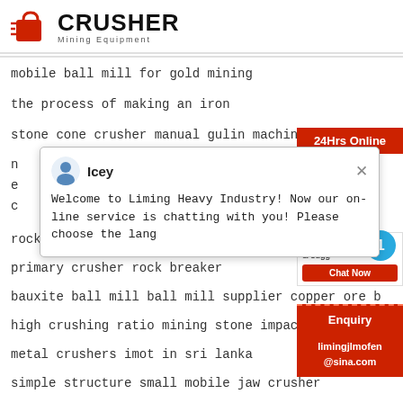[Figure (logo): Crusher Mining Equipment logo with red shopping bag icon and bold CRUSHER text]
mobile ball mill for gold mining
the process of making an iron
stone cone crusher manual gulin machinery
n
e
c
[Figure (screenshot): Chat popup with agent Icey. Message: Welcome to Liming Heavy Industry! Now our on-line service is chatting with you! Please choose the lang]
rock quarry rock crusher philippines
primary crusher rock breaker
bauxite ball mill ball mill supplier copper ore b
high crushing ratio mining stone impact crush
metal crushers imot in sri lanka
simple structure small mobile jaw crusher
24Hrs Online
Need & sugg
Chat Now
Enquiry
limingjlmofen@sina.com